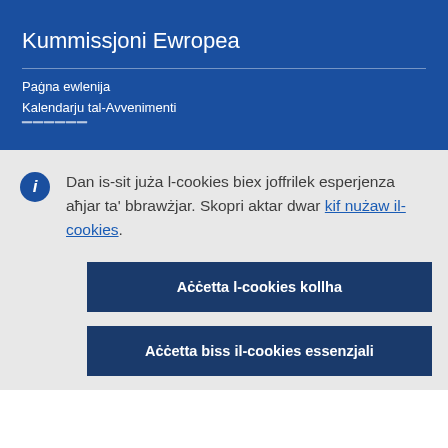Kummissjoni Ewropea
Paġna ewlenija
Kalendarju tal-Avvenimenti
Dan is-sit juża l-cookies biex joffrilek esperjenza aħjar ta' bbrawżjar. Skopri aktar dwar kif nużaw il-cookies.
Aċċetta l-cookies kollha
Aċċetta biss il-cookies essenzjali